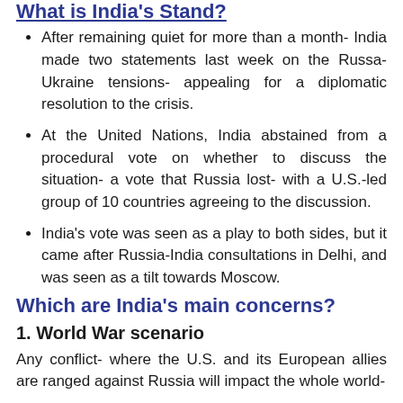What is India's Stand?
After remaining quiet for more than a month- India made two statements last week on the Russa-Ukraine tensions- appealing for a diplomatic resolution to the crisis.
At the United Nations, India abstained from a procedural vote on whether to discuss the situation- a vote that Russia lost- with a U.S.-led group of 10 countries agreeing to the discussion.
India's vote was seen as a play to both sides, but it came after Russia-India consultations in Delhi, and was seen as a tilt towards Moscow.
Which are India's main concerns?
1. World War scenario
Any conflict- where the U.S. and its European allies are ranged against Russia will impact the whole world-